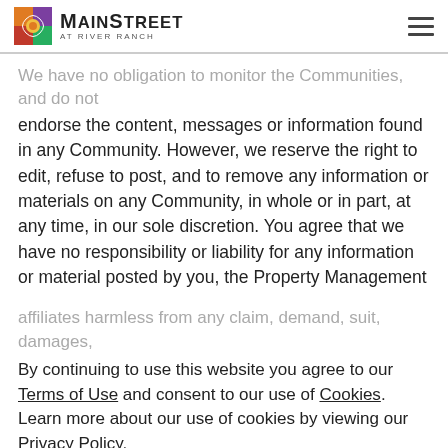MainStreet at River Ranch
We have no obligation to monitor the Communities, and do not endorse the content, messages or information found in any Community. However, we reserve the right to edit, refuse to post, and to remove any information or materials on any Community, in whole or in part, at any time, in our sole discretion. You agree that we have no responsibility or liability for any information or material posted by you, the Property Management Company, or any other user or third-party on any Community, and that you post and read any Community information at your own risk. You agree to indemnify and hold us and our members, managers, officers, employees, and affiliates harmless from any claim, demand, suit, damages, liability, or expense, including reasonable attorney's fees, arising out of or relating to your posting, reading of any material on, or any other kind of participation in
By continuing to use this website you agree to our Terms of Use and consent to our use of Cookies. Learn more about our use of cookies by viewing our Privacy Policy.
ACCEPT
By posting messages, uploading files, inputting, the community